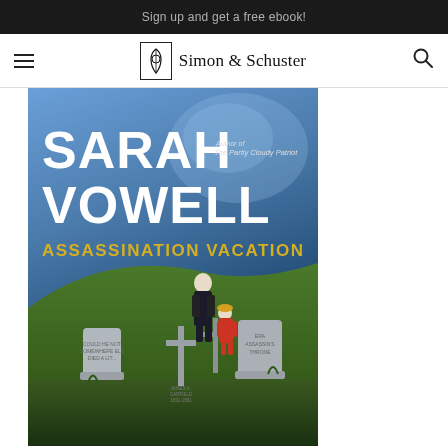Sign up and get a free ebook!
Simon & Schuster
[Figure (illustration): Book cover of 'Assassination Vacation' by Sarah Vowell. The cover features bold white text 'SARAH VOWELL' at the top with subtitle 'author of The Partly Cloudy Patriot', followed by yellow text 'ASSASSINATION VACATION'. The background shows a blue-toned sky and green grass hill. In the foreground are miniature figurines of two people standing among gravestones in a cemetery scene.]